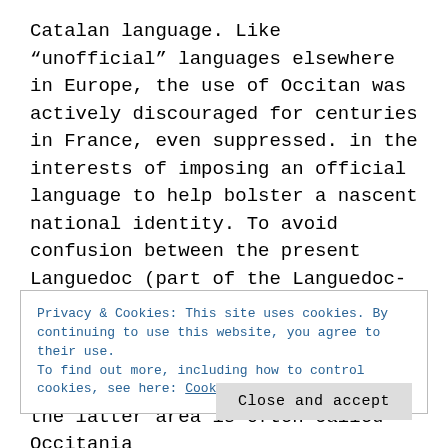Catalan language. Like “unofficial” languages elsewhere in Europe, the use of Occitan was actively discouraged for centuries in France, even suppressed. in the interests of imposing an official language to help bolster a nascent national identity. To avoid confusion between the present Languedoc (part of the Languedoc-Roussillon Region) and the Languedoc (the area of the langue d'oc where Occitan was traditionally the first language), the latter area is often called Occitania
Privacy & Cookies: This site uses cookies. By continuing to use this website, you agree to their use.
To find out more, including how to control cookies, see here: Cookie Policy